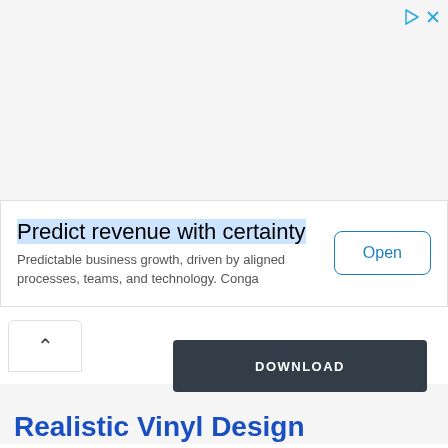[Figure (other): Top gray banner area with ad control icons (triangle/play and X) in the top right corner]
Predict revenue with certainty
Predictable business growth, driven by aligned processes, teams, and technology. Conga
Open
[Figure (other): Collapse/chevron up button on the left side]
DOWNLOAD
Realistic Vinyl Design
[Figure (other): Bottom image area partially visible]